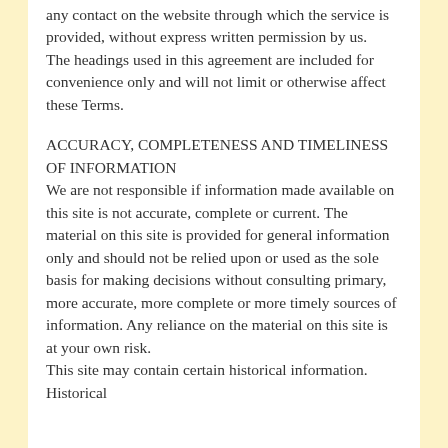any contact on the website through which the service is provided, without express written permission by us. The headings used in this agreement are included for convenience only and will not limit or otherwise affect these Terms.
ACCURACY, COMPLETENESS AND TIMELINESS OF INFORMATION
We are not responsible if information made available on this site is not accurate, complete or current. The material on this site is provided for general information only and should not be relied upon or used as the sole basis for making decisions without consulting primary, more accurate, more complete or more timely sources of information. Any reliance on the material on this site is at your own risk. This site may contain certain historical information. Historical